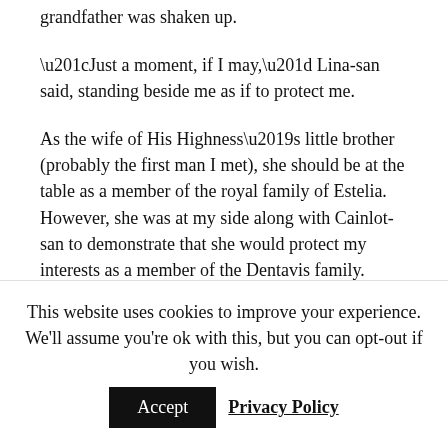grandfather was shaken up.
“Just a moment, if I may,” Lina-san said, standing beside me as if to protect me.
As the wife of His Highness’s little brother (probably the first man I met), she should be at the table as a member of the royal family of Estelia. However, she was at my side along with Cainlot-san to demonstrate that she would protect my interests as a member of the Dentavis family.
Lina-san is a handsome lady in exciting...
This website uses cookies to improve your experience. We’ll assume you’re ok with this, but you can opt-out if you wish.